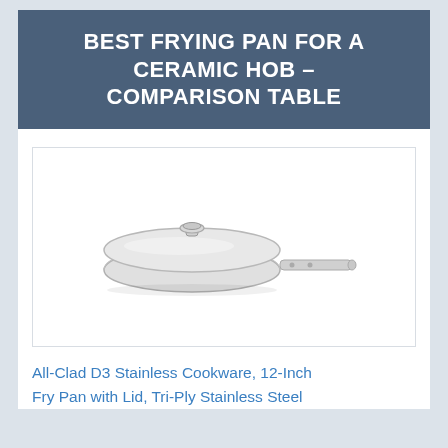BEST FRYING PAN FOR A CERAMIC HOB – COMPARISON TABLE
[Figure (photo): Photo of a stainless steel frying pan with lid and long handle on a white background]
All-Clad D3 Stainless Cookware, 12-Inch Fry Pan with Lid, Tri-Ply Stainless Steel